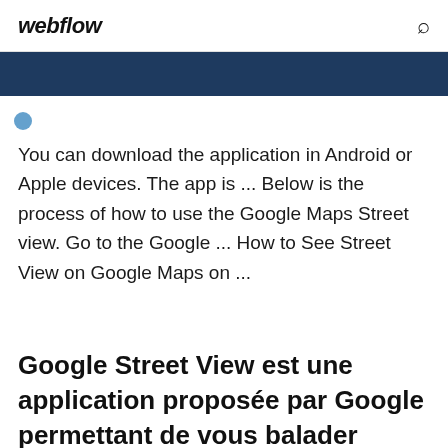webflow
[Figure (other): Dark blue navigation bar with a small circular dot icon on the left]
You can download the application in Android or Apple devices. The app is ... Below is the process of how to use the Google Maps Street view. Go to the Google ... How to See Street View on Google Maps on ...
Google Street View est une application proposée par Google permettant de vous balader